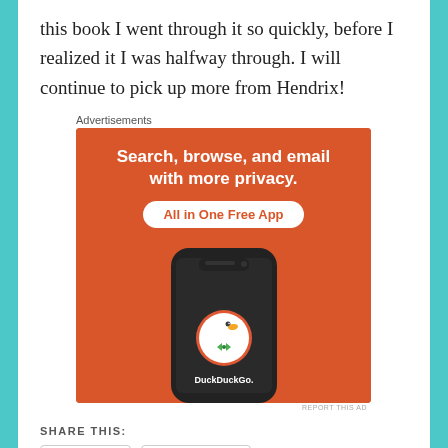this book I went through it so quickly, before I realized it I was halfway through. I will continue to pick up more from Hendrix!
Advertisements
[Figure (screenshot): DuckDuckGo advertisement banner showing a smartphone with DuckDuckGo app. Orange background with white text: 'Search, browse, and email with more privacy. All in One Free App'. Shows DuckDuckGo duck logo and brand name on phone screen.]
REPORT THIS AD
SHARE THIS:
Twitter
Facebook